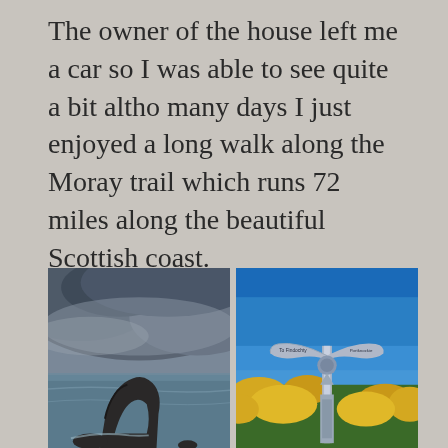The owner of the house left me a car so I was able to see quite a bit altho many days I just enjoyed a long walk along the Moray trail which runs 72 miles along the beautiful Scottish coast.
[Figure (photo): Coastal rock formation with natural arch in stormy sea, dramatic cloudy sky, moody blue-grey tones — likely Bow Fiddle Rock on the Moray coast, Scotland]
[Figure (photo): Moray trail waymarker sculpture/sign post with two curved arms and text reading 'To Findochty' and 'Portknockie', set against a clear blue sky with yellow gorse bushes and sea in background]